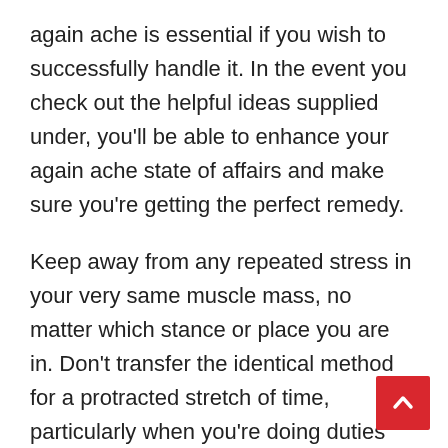again ache is essential if you wish to successfully handle it. In the event you check out the helpful ideas supplied under, you'll be able to enhance your again ache state of affairs and make sure you're getting the perfect remedy.
Keep away from any repeated stress in your very same muscle mass, no matter which stance or place you are in. Don't transfer the identical method for a protracted stretch of time, particularly when you're doing duties that it is advisable to repeat, like cooking or cleansing. Keep energetic and swap your actions round often.
Positioning your hips and positioning your